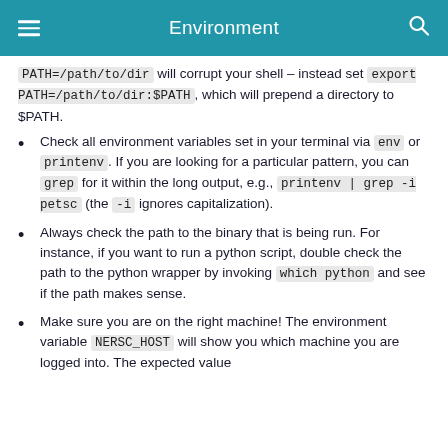Environment
PATH=/path/to/dir will corrupt your shell – instead set export PATH=/path/to/dir:$PATH, which will prepend a directory to $PATH.
Check all environment variables set in your terminal via env or printenv. If you are looking for a particular pattern, you can grep for it within the long output, e.g., printenv | grep -i petsc (the -i ignores capitalization).
Always check the path to the binary that is being run. For instance, if you want to run a python script, double check the path to the python wrapper by invoking which python and see if the path makes sense.
Make sure you are on the right machine! The environment variable NERSC_HOST will show you which machine you are logged into. The expected value